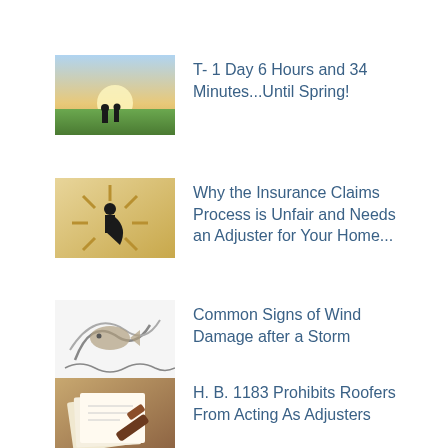[Figure (photo): Two people silhouetted against a bright sunrise in a green field]
T- 1 Day 6 Hours and 34 Minutes...Until Spring!
[Figure (illustration): Silhouette of a superhero figure with a cape against a starburst background]
Why the Insurance Claims Process is Unfair and Needs an Adjuster for Your Home...
[Figure (illustration): Cartoon illustration of a creature or character with swirling elements]
Common Signs of Wind Damage after a Storm
[Figure (photo): Close-up of legal or document papers with a gavel]
H. B. 1183 Prohibits Roofers From Acting As Adjusters